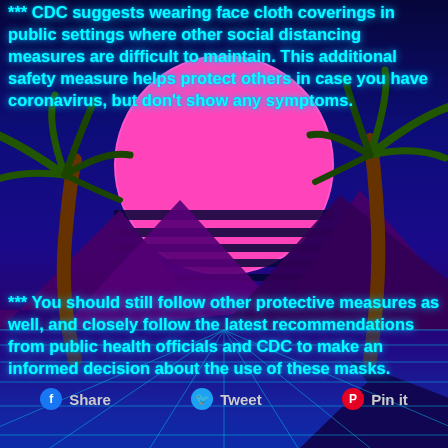*** CDC suggests wearing face cloth coverings in public settings where other social distancing measures are difficult to maintain. This additional safety measure helps protect others in case you have coronavirus, but don't show any symptoms.
[Figure (illustration): Synthwave/retrowave style background with a large pink-magenta sun with horizontal stripes, palm trees on left and right, purple mountains, and a cyan grid floor. Dark blue-purple gradient sky.]
*** You should still follow other protective measures as well, and closely follow the latest recommendations from public health officials and CDC to make an informed decision about the use of these masks.
MATCHING UP SNEAKERS & SKATES? VISIT CHANNELCRXWN.COM FOR ONLINE PERSONAL STYLIST MATCHUP TOOL & MORE DISCOUNTS ON CUSTOM BRAND MELANIN STREETWEAR & FASHION APPAREL.
Share
Tweet
Pin it